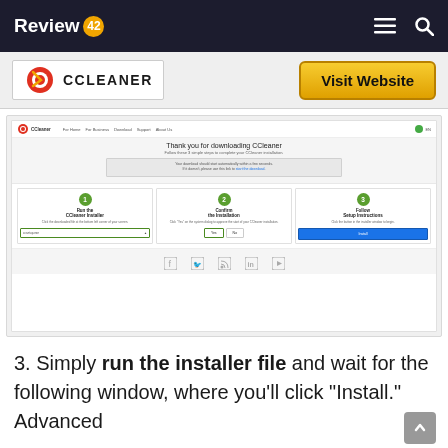Review42 — navigation bar with menu and search icons
[Figure (screenshot): CCleaner logo and Visit Website button header area]
[Figure (screenshot): CCleaner download page screenshot showing 3 steps: Run the CCleaner Installer, Confirm the Installation, Follow Setup Instructions]
3. Simply run the installer file and wait for the following window, where you'll click "Install." Advanced